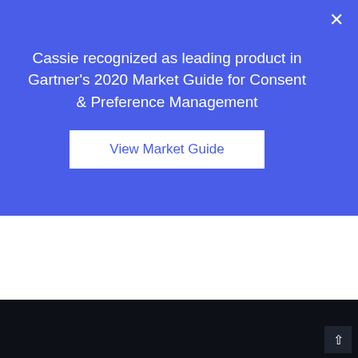Cassie recognized as leading product in Gartner's 2020 Market Guide for Consent & Preference Management
View Market Guide
[Figure (other): Blue circle with text 'POS' partially visible]
Contact Sales
t: +44 1928 622309